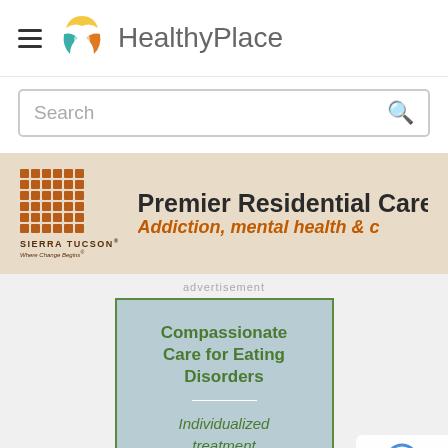[Figure (logo): HealthyPlace website header with hamburger menu icon, circular sun/leaf logo, and HealthyPlace text]
Search
[Figure (screenshot): Sierra Tucson banner advertisement: Premier Residential Care, Addiction, mental health & co-occurring disorders]
advertisement
[Figure (screenshot): Advertisement for Compassionate Care for Eating Disorders - Individualized treatment for women]